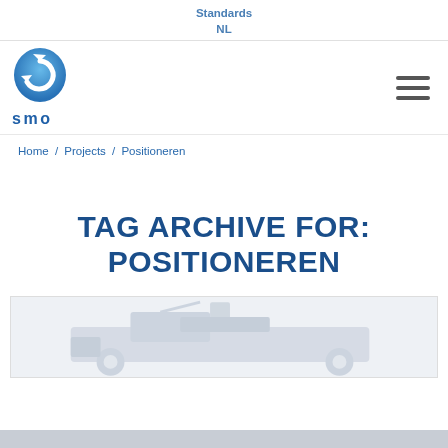Standards
NL
[Figure (logo): SMO logo: blue circular arrow icon above the text 'smo' in blue letters]
Home / Projects / Positioneren
TAG ARCHIVE FOR: POSITIONEREN
[Figure (photo): Faded gray background image of industrial machinery or vehicle]